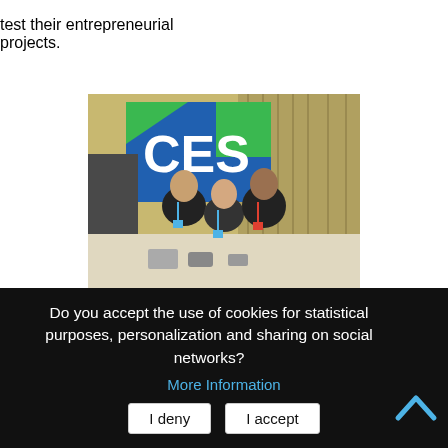test their entrepreneurial projects.
[Figure (photo): Three people posing together at CES (Consumer Electronics Show) exhibition. A large CES banner/logo is visible in the background with blue and green colors. The setting appears to be an indoor conference/expo hall.]
Do you accept the use of cookies for statistical purposes, personalization and sharing on social networks?
More Information
I deny
I accept